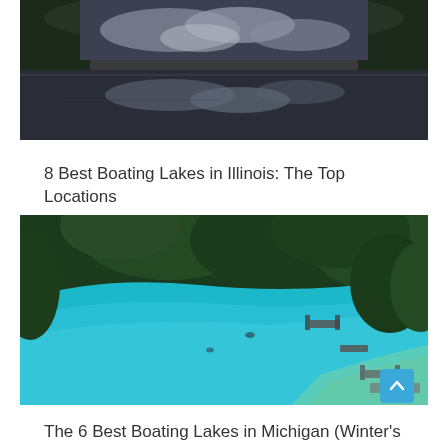[Figure (photo): Aerial/ground-level view of a calm lake reflecting cloudy sky, surrounded by trees and hills at dusk]
8 Best Boating Lakes in Illinois: The Top Locations
[Figure (photo): Aerial view of a bright blue-turquoise lake surrounded by dense green forest, with docks and boats along the shoreline]
The 6 Best Boating Lakes in Michigan (Winter's